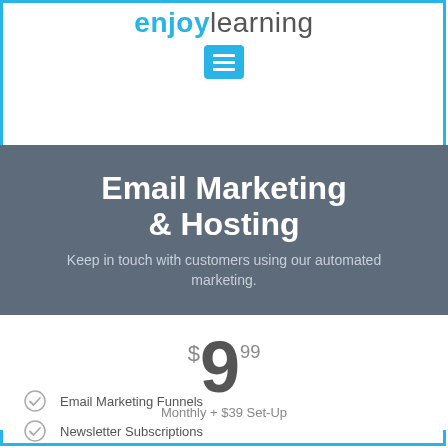enjoylearning
Email Marketing & Hosting
Keep in touch with customers using our automated marketing.
$9.99 Monthly + $39 Set-Up
Email Marketing Funnels
Newsletter Subscriptions